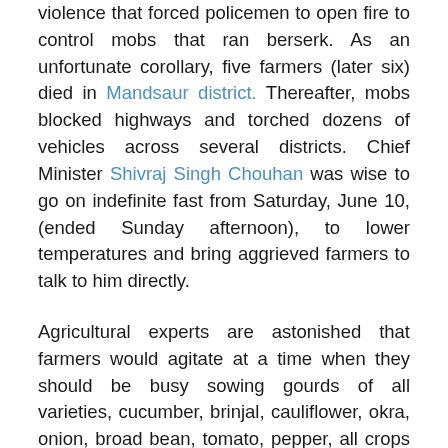violence that forced policemen to open fire to control mobs that ran berserk. As an unfortunate corollary, five farmers (later six) died in Mandsaur district. Thereafter, mobs blocked highways and torched dozens of vehicles across several districts. Chief Minister Shivraj Singh Chouhan was wise to go on indefinite fast from Saturday, June 10, (ended Sunday afternoon), to lower temperatures and bring aggrieved farmers to talk to him directly.
Agricultural experts are astonished that farmers would agitate at a time when they should be busy sowing gourds of all varieties, cucumber, brinjal, cauliflower, okra, onion, broad bean, tomato, pepper, all crops that will earn the next seasons income. Yet, the agitation began in the rich, opium-growing Mandsaur.
The rapid spread of arson and violence to Shajapur, Dhar,